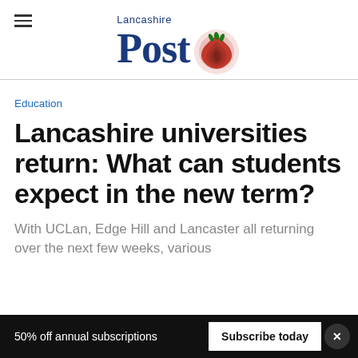Lancashire Post
Education
Lancashire universities return: What can students expect in the new term?
With UCLan, Edge Hill and Lancaster all returning over the next few weeks, various
50% off annual subscriptions  Subscribe today